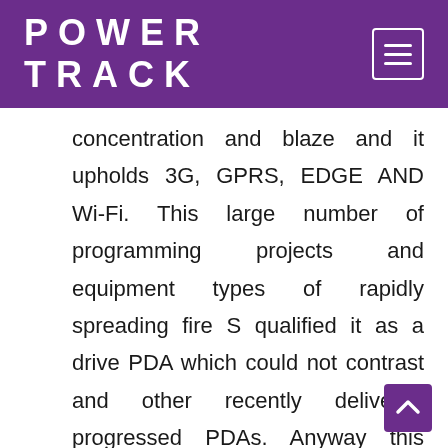POWER TRACK
concentration and blaze and it upholds 3G, GPRS, EDGE AND Wi-Fi. This large number of programming projects and equipment types of rapidly spreading fire S qualified it as a drive PDA which could not contrast and other recently delivered progressed PDAs. Anyway this multitude of elements of fierce blaze was adequate for our day to day use. In any case, the rapidly spreading fire is not awful by contrasting and the advanced cells in a similar level.